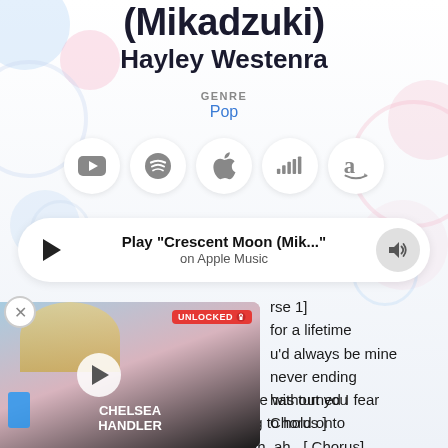(Mikadzuki)
Hayley Westenra
GENRE
Pop
[Figure (screenshot): Streaming platform icons: YouTube, Spotify, Apple Music, Deezer, Amazon Music]
[Figure (screenshot): Music player bar with play button, text 'Play "Crescent Moon (Mik..."' and 'on Apple Music', and volume icon]
[Figure (screenshot): Video overlay thumbnail with Chelsea Handler, UNLOCKED badge, and play button]
[Verse 1]
for a lifetime
u'd always be mine
never ending
has turned I fear
[ Chorus ]
wondering how to live life without you
Trying to find something to hold onto
Without you... woah, ah, ah, ah...[ Chorus]